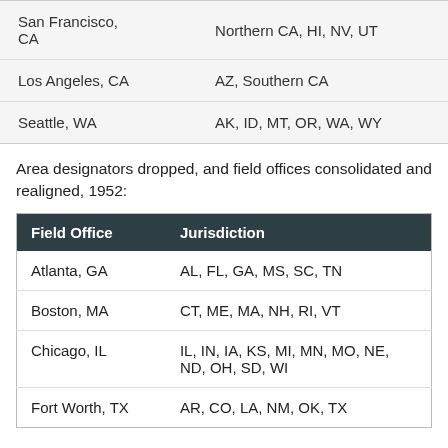| Field Office | Jurisdiction |
| --- | --- |
| San Francisco, CA | Northern CA, HI, NV, UT |
| Los Angeles, CA | AZ, Southern CA |
| Seattle, WA | AK, ID, MT, OR, WA, WY |
Area designators dropped, and field offices consolidated and realigned, 1952:
| Field Office | Jurisdiction |
| --- | --- |
| Atlanta, GA | AL, FL, GA, MS, SC, TN |
| Boston, MA | CT, ME, MA, NH, RI, VT |
| Chicago, IL | IL, IN, IA, KS, MI, MN, MO, NE, ND, OH, SD, WI |
| Fort Worth, TX | AR, CO, LA, NM, OK, TX |